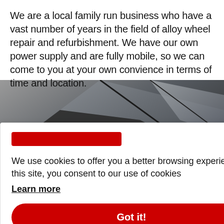We are a local family run business who have a vast number of years in the field of alloy wheel repair and refurbishment. We have our own power supply and are fully mobile, so we can come to you at your own convience in terms of time and location.
[Figure (photo): Partial view of a dark grey/silver car roof and body panel, photographed at an angle]
We use cookies to offer you a better browsing experience and analyze site traffic. If you continue to use this site, you consent to our use of cookies
Learn more
Got it!